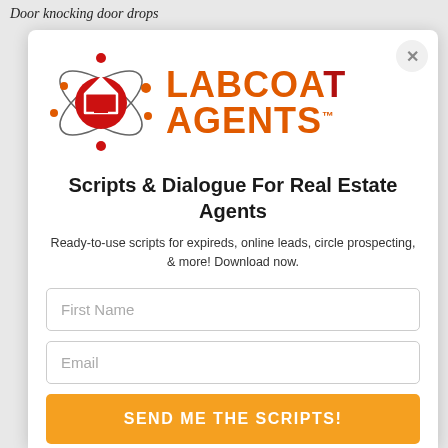Door knocking door drops
[Figure (logo): Labcoat Agents logo: atomic orbit graphic with red house icon in center, orange and red text reading LABCOAT AGENTS with TM mark]
Scripts & Dialogue For Real Estate Agents
Ready-to-use scripts for expireds, online leads, circle prospecting, & more! Download now.
First Name
Email
SEND ME THE SCRIPTS!